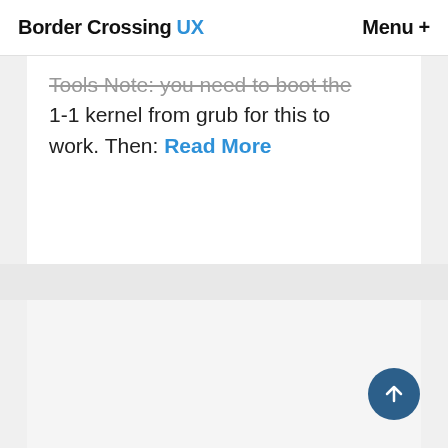Border Crossing UX  Menu +
Tools Note: you need to boot the 1-1 kernel from grub for this to work. Then: Read More
[Figure (other): Scroll-to-top circular button with upward arrow, dark blue background]